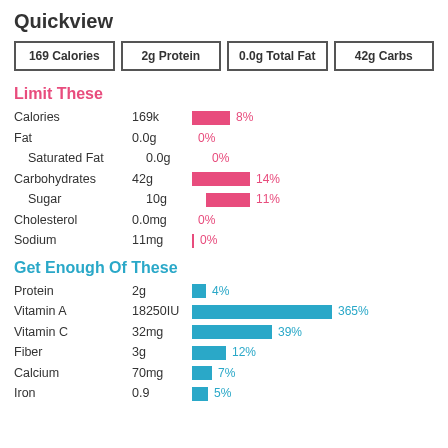Quickview
| 169 Calories | 2g Protein | 0.0g Total Fat | 42g Carbs |
| --- | --- | --- | --- |
Limit These
| Nutrient | Amount | % Daily Value |
| --- | --- | --- |
| Calories | 169k | 8% |
| Fat | 0.0g | 0% |
| Saturated Fat | 0.0g | 0% |
| Carbohydrates | 42g | 14% |
| Sugar | 10g | 11% |
| Cholesterol | 0.0mg | 0% |
| Sodium | 11mg | 0% |
Get Enough Of These
| Nutrient | Amount | % Daily Value |
| --- | --- | --- |
| Protein | 2g | 4% |
| Vitamin A | 18250IU | 365% |
| Vitamin C | 32mg | 39% |
| Fiber | 3g | 12% |
| Calcium | 70mg | 7% |
| Iron | 0.9 | 5% |